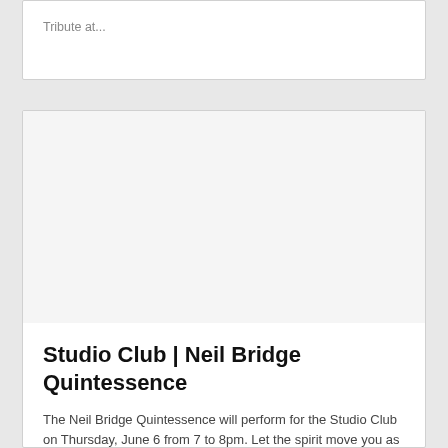Tribute at...
[Figure (photo): Large image placeholder area, white/light grey background for an event photo]
Studio Club | Neil Bridge Quintessence
The Neil Bridge Quintessence will perform for the Studio Club on Thursday, June 6 from 7 to 8pm. Let the spirit move you as Neil Bridge, one of